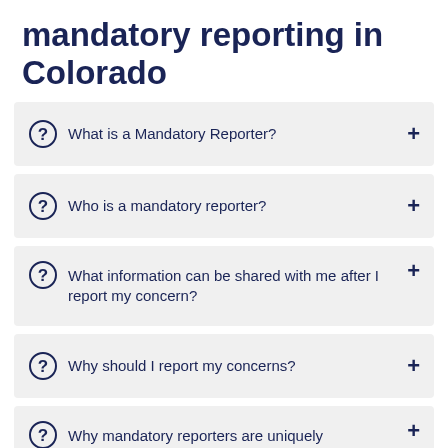mandatory reporting in Colorado
What is a Mandatory Reporter?
Who is a mandatory reporter?
What information can be shared with me after I report my concern?
Why should I report my concerns?
Why mandatory reporters are uniquely positioned to make a report?